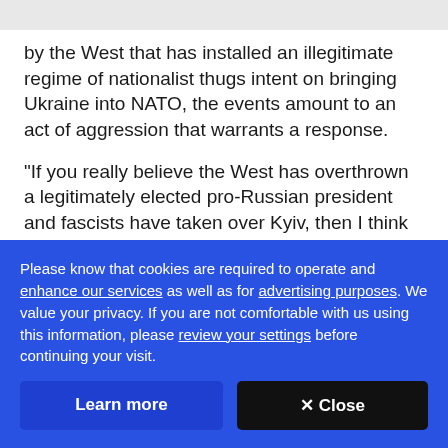by the West that has installed an illegitimate regime of nationalist thugs intent on bringing Ukraine into NATO, the events amount to an act of aggression that warrants a response.
"If you really believe the West has overthrown a legitimately elected pro-Russian president and fascists have taken over Kyiv, then I think their [Russia's] actions make a little bit more sense." Way
Please know that cookies are required to operate and enhance our services as well as for advertising purposes. We value your privacy. If you are not comfortable with us using this information, please review your settings before continuing your visit.